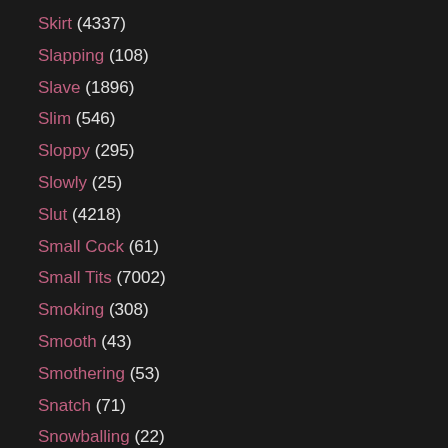Skirt (4337)
Slapping (108)
Slave (1896)
Slim (546)
Sloppy (295)
Slowly (25)
Slut (4218)
Small Cock (61)
Small Tits (7002)
Smoking (308)
Smooth (43)
Smothering (53)
Snatch (71)
Snowballing (22)
Soapy (25)
Soccer (37)